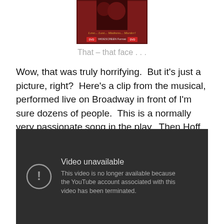[Figure (photo): DVD cover image showing a movie with text 'Love... Lust... Madness... Murder!' and 'WIDESCREEN Format' on a dark red background]
That – that face . . .
Wow, that was truly horrifying.  But it's just a picture, right?  Here's a clip from the musical, performed live on Broadway in front of I'm sure dozens of people.  This is a normally very passionate song in the play.  Then Hoff gets a hold of it and . . . just watch.
[Figure (screenshot): Embedded YouTube video player showing 'Video unavailable' error message with icon and text: 'This video is no longer available because the YouTube account associated with this video has been terminated.']